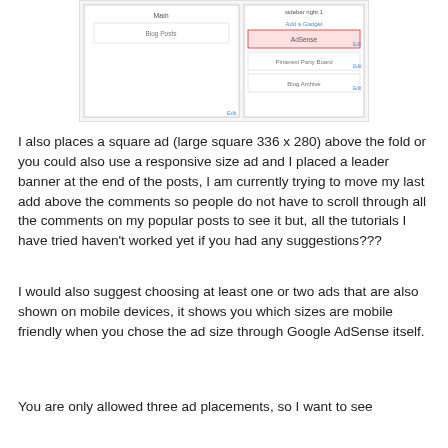[Figure (screenshot): Screenshot of a blog widget/layout editor showing 'Main' column with 'Blog Posts' and 'sidebar right 1' with 'Add a Gadget', 'AdSense' (highlighted in pink), 'Pinterest Party Board', and 'Blog Archive' entries with Edit links.]
I also places a square ad (large square 336 x 280) above the fold or you could also use a responsive size ad and I placed a leader banner at the end of the posts, I am currently trying to move my last add above the comments so people do not have to scroll through all the comments on my popular posts to see it but, all the tutorials I have tried haven't worked yet if you had any suggestions???
I would also suggest choosing at least one or two ads that are also shown on mobile devices, it shows you which sizes are mobile friendly when you chose the ad size through Google AdSense itself.
You are only allowed three ad placements, so I want to see